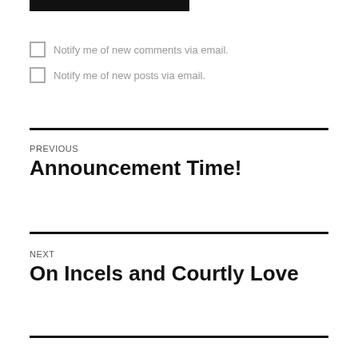[Figure (other): Dark rectangular bar at the top of the page]
Notify me of new comments via email.
Notify me of new posts via email.
PREVIOUS
Announcement Time!
NEXT
On Incels and Courtly Love